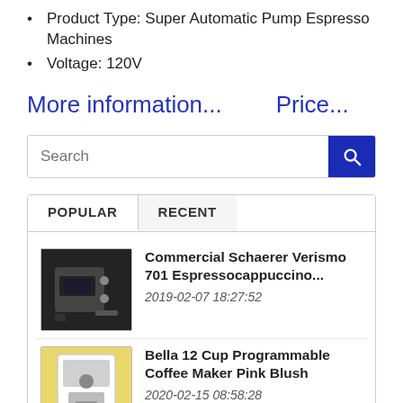Product Type: Super Automatic Pump Espresso Machines
Voltage: 120V
More information...   Price...
Search
POPULAR   RECENT
Commercial Schaerer Verismo 701 Espressocappuccino...
2019-02-07 18:27:52
Bella 12 Cup Programmable Coffee Maker Pink Blush
2020-02-15 08:58:28